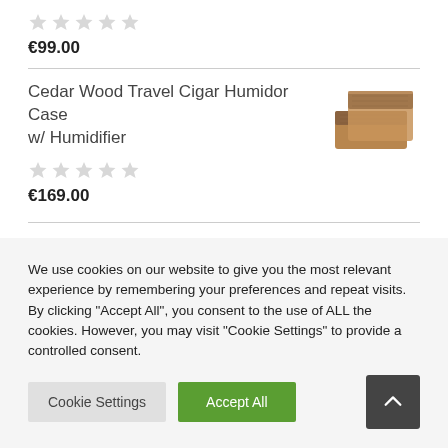[Figure (other): Five empty star rating icons (grey)]
€99.00
Cedar Wood Travel Cigar Humidor Case w/ Humidifier
[Figure (photo): Photo of a cedar wood travel cigar humidor case]
[Figure (other): Five empty star rating icons (grey)]
€169.00
We use cookies on our website to give you the most relevant experience by remembering your preferences and repeat visits. By clicking "Accept All", you consent to the use of ALL the cookies. However, you may visit "Cookie Settings" to provide a controlled consent.
Cookie Settings
Accept All